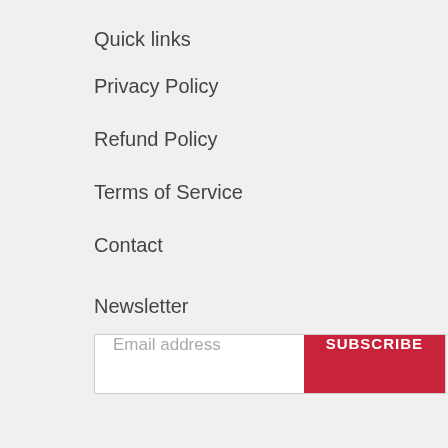Quick links
Privacy Policy
Refund Policy
Terms of Service
Contact
Newsletter
Email address  SUBSCRIBE